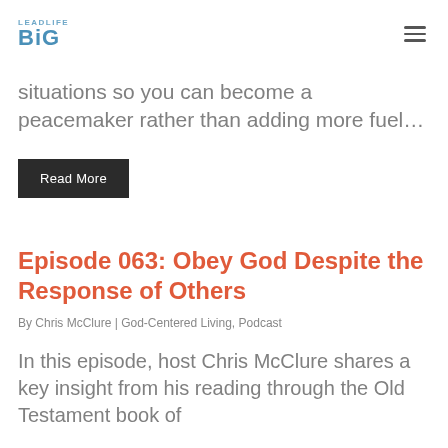LEADLIFE BIG
situations so you can become a peacemaker rather than adding more fuel…
Read More
Episode 063: Obey God Despite the Response of Others
By Chris McClure | God-Centered Living, Podcast
In this episode, host Chris McClure shares a key insight from his reading through the Old Testament book of